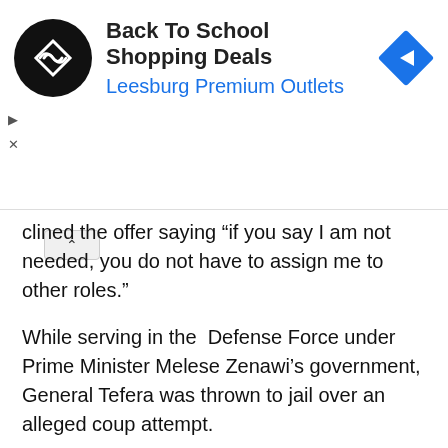[Figure (infographic): Advertisement banner: circular black logo with double arrow symbol, text 'Back To School Shopping Deals' and 'Leesburg Premium Outlets' in blue, blue diamond navigation arrow icon on right]
clined the offer saying “if you say I am not needed, you do not have to assign me to other roles.”
While serving in the Defense Force under Prime Minister Melese Zenawi’s government, General Tefera was thrown to jail over an alleged coup attempt.
Last week, he gave a two part interview to Ethiopian Satellite Television (ESAT) in which he was very critical of Prime minister Abiy Ahmed’s government and Amhara regional states authorities.
--
To share information or for submission, send e-mail to